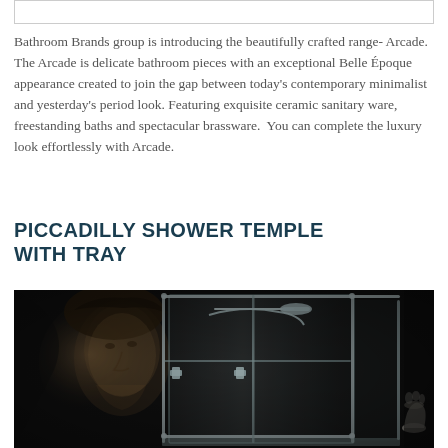Bathroom Brands group is introducing the beautifully crafted range- Arcade. The Arcade is delicate bathroom pieces with an exceptional Belle Époque appearance created to join the gap between today's contemporary minimalist and yesterday's period look. Featuring exquisite ceramic sanitary ware, freestanding baths and spectacular brassware.  You can complete the luxury look effortlessly with Arcade.
PICCADILLY SHOWER TEMPLE WITH TRAY
[Figure (photo): Dark atmospheric photo of a glass shower enclosure with chrome pipe-style fittings in Belle Époque style, set against a dark background with a Renaissance-style portrait face visible behind it, and a small white urn with flowers on the right side.]